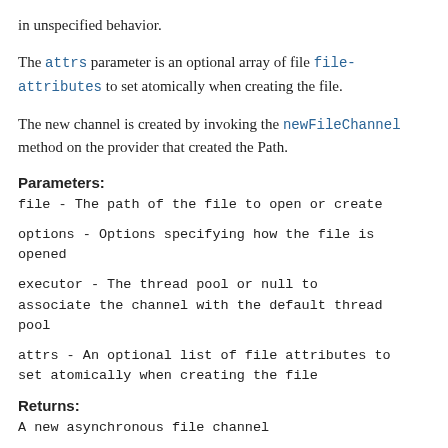in unspecified behavior.
The attrs parameter is an optional array of file file-attributes to set atomically when creating the file.
The new channel is created by invoking the newFileChannel method on the provider that created the Path.
Parameters:
file - The path of the file to open or create
options - Options specifying how the file is opened
executor - The thread pool or null to associate the channel with the default thread pool
attrs - An optional list of file attributes to set atomically when creating the file
Returns:
A new asynchronous file channel